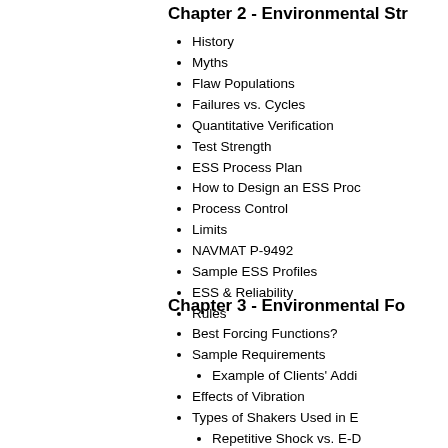Chapter 2 - Environmental Str...
History
Myths
Flaw Populations
Failures vs. Cycles
Quantitative Verification
Test Strength
ESS Process Plan
How to Design an ESS Proc...
Process Control
Limits
NAVMAT P-9492
Sample ESS Profiles
ESS & Reliability
Rules
Chapter 3 - Environmental Fo...
Best Forcing Functions?
Sample Requirements
Example of Clients' Addi...
Effects of Vibration
Types of Shakers Used in E...
Repetitive Shock vs. E-D...
Properties of an Efficient Vib...